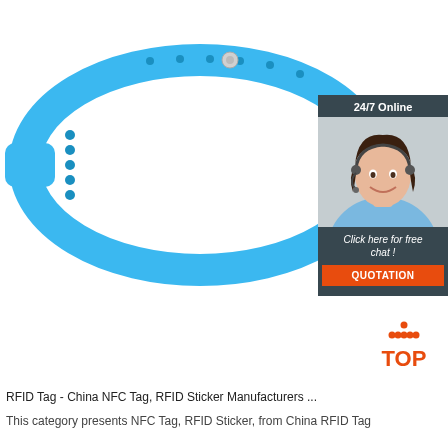[Figure (photo): Blue silicone RFID wristband/bracelet with snap buckle closure, shown on white background. A customer service chat widget overlays the top right showing a smiling woman with headset, '24/7 Online' header, 'Click here for free chat!' text, and orange QUOTATION button.]
[Figure (logo): TOP logo — red text 'TOP' with orange dot-triangle above it]
RFID Tag - China NFC Tag, RFID Sticker Manufacturers ...
This category presents NFC Tag, RFID Sticker, from China RFID Tag